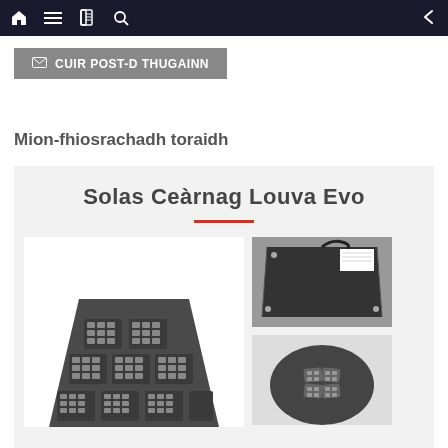Navigation bar with home, menu, book, search icons and back arrow
✉ CUIR POST-D THUGAINN
Mion-fhiosrachadh toraidh
Solas Ceàrnag Louva Evo
[Figure (photo): Product images of Solas Ceàrnag Louva Evo square louvre lighting fixture showing front face with LED arrays, back panel, and detail view]
Solas Ceàrnag Louva Evo